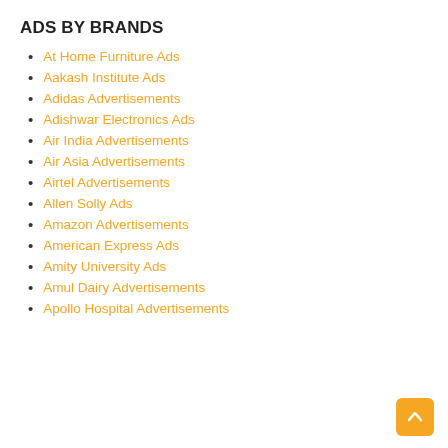ADS BY BRANDS
At Home Furniture Ads
Aakash Institute Ads
Adidas Advertisements
Adishwar Electronics Ads
Air India Advertisements
Air Asia Advertisements
Airtel Advertisements
Allen Solly Ads
Amazon Advertisements
American Express Ads
Amity University Ads
Amul Dairy Advertisements
Apollo Hospital Advertisements